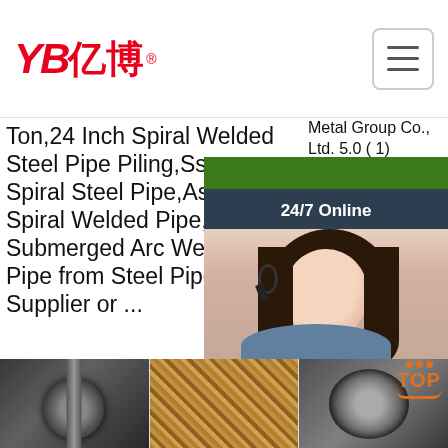[Figure (logo): YB 亿博 logo in red with registered trademark symbol]
[Figure (other): Hamburger menu icon (three horizontal lines) in a rounded rectangle border]
Ton,24 Inch Spiral Welded Steel Pipe Piling,Ssaw Spiral Steel Pipe,Astm A252 Spiral Welded Pipe,Spiral Submerged Arc Welded Pipe from Steel Pipes Supplier or ...
Metal Group Co., Ltd. 5.0 ( 1) Contact Supplier.
[Figure (other): Green 'Get Price' button]
[Figure (other): Chat widget with green bar, 24/7 Online label, customer service representative photo, 'Click here for free chat!' text, and orange QUOTATION button]
[Figure (other): Green 'Get Price' button (larger, left side lower)]
[Figure (photo): Steel pipe close-up product photo]
[Figure (photo): Braided hose/tube product photo]
[Figure (photo): Pipe end/fitting photo with orange TOP badge overlay]